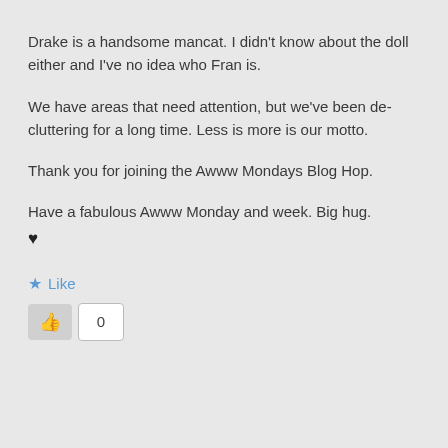Drake is a handsome mancat. I didn't know about the doll either and I've no idea who Fran is.
We have areas that need attention, but we've been de-cluttering for a long time. Less is more is our motto.
Thank you for joining the Awww Mondays Blog Hop.
Have a fabulous Awww Monday and week. Big hug. ♥